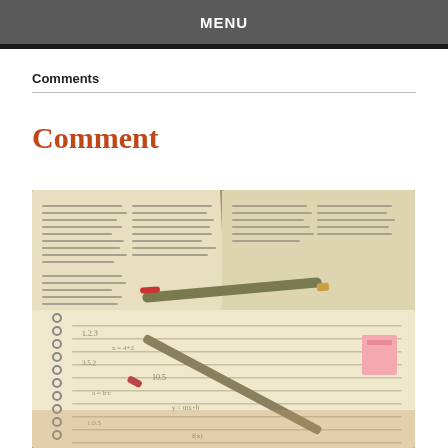MENU
Comments
Comment
[Figure (photo): Open textbook with handwritten notes on spiral notebook, two pens (one with red cap, one gold/black), and a pink sticky note tab visible on the notebook edge]